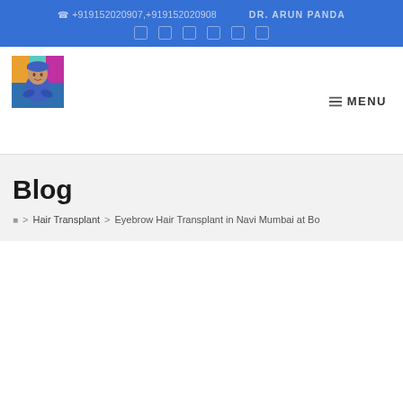☎ +919152020907,+919152020908   DR. ARUN PANDA
[Figure (photo): Doctor in blue surgical scrubs and cap, seated with arms crossed, colorful background]
☰ MENU
Blog
🏠 > Hair Transplant > Eyebrow Hair Transplant in Navi Mumbai at Bo...